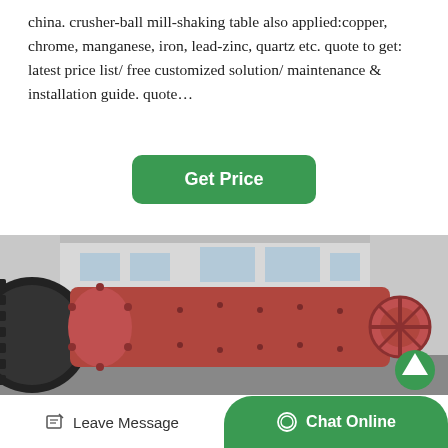china. crusher-ball mill-shaking table also applied:copper, chrome, manganese, iron, lead-zinc, quartz etc. quote to get: latest price list/ free customized solution/ maintenance & installation guide. quote…
[Figure (other): Green rounded rectangle button labeled 'Get Price']
[Figure (photo): Photograph of a large industrial red ball mill machine outside a factory building, with a large gear/flywheel on the left, cylindrical drum in the center, and a wheel mechanism on the right. An upward green arrow icon is visible on the right side.]
[Figure (other): Bottom navigation bar with 'Leave Message' button on the left (with pencil/edit icon) and green 'Chat Online' button on the right (with chat bubble icon)]